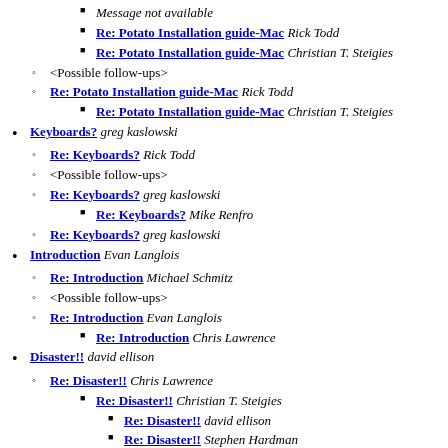Message not available
Re: Potato Installation guide-Mac Rick Todd
Re: Potato Installation guide-Mac Christian T. Steigies
<Possible follow-ups>
Re: Potato Installation guide-Mac Rick Todd
Re: Potato Installation guide-Mac Christian T. Steigies
Keyboards? greg kaslowski
Re: Keyboards? Rick Todd
<Possible follow-ups>
Re: Keyboards? greg kaslowski
Re: Keyboards? Mike Renfro
Re: Keyboards? greg kaslowski
Introduction Evan Langlois
Re: Introduction Michael Schmitz
<Possible follow-ups>
Re: Introduction Evan Langlois
Re: Introduction Chris Lawrence
Disaster!! david ellison
Re: Disaster!! Chris Lawrence
Re: Disaster!! Christian T. Steigies
Re: Disaster!! david ellison
Re: Disaster!! Stephen Hardman